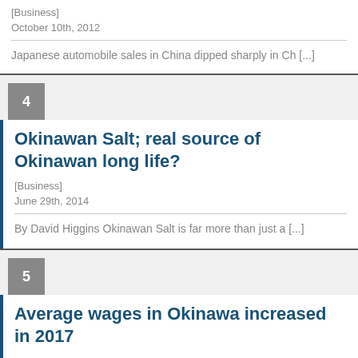[Business]
October 10th, 2012
Japanese automobile sales in China dipped sharply in Ch [...]
Okinawan Salt; real source of Okinawan long life?
[Business]
June 29th, 2014
By David Higgins Okinawan Salt is far more than just a [...]
Average wages in Okinawa increased in 2017